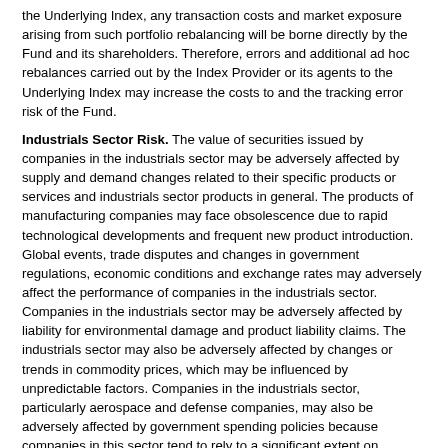the Underlying Index, any transaction costs and market exposure arising from such portfolio rebalancing will be borne directly by the Fund and its shareholders. Therefore, errors and additional ad hoc rebalances carried out by the Index Provider or its agents to the Underlying Index may increase the costs to and the tracking error risk of the Fund.
Industrials Sector Risk. The value of securities issued by companies in the industrials sector may be adversely affected by supply and demand changes related to their specific products or services and industrials sector products in general. The products of manufacturing companies may face obsolescence due to rapid technological developments and frequent new product introduction. Global events, trade disputes and changes in government regulations, economic conditions and exchange rates may adversely affect the performance of companies in the industrials sector. Companies in the industrials sector may be adversely affected by liability for environmental damage and product liability claims. The industrials sector may also be adversely affected by changes or trends in commodity prices, which may be influenced by unpredictable factors. Companies in the industrials sector, particularly aerospace and defense companies, may also be adversely affected by government spending policies because companies in this sector tend to rely to a significant extent on government demand for their products and services.
Infectious Illness Risk. An outbreak of an infectious respiratory illness, COVID-19, caused by a novel coronavirus that was first detected in December 2019 has spread globally. The impact of this outbreak has adversely affected the economies of many nations and the global economy, and may impact individual issuers and capital markets in ways that cannot be foreseen. Although vaccines have been developed and approved for use by various governments, the duration of the outbreak and its effects cannot be predicted with certainty. Any market or economic disruption can be expected to result in elevated tracking...